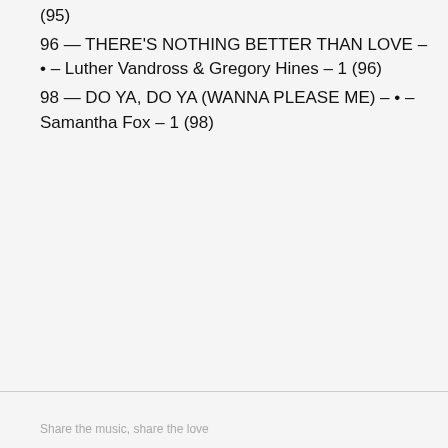(95)
96 — THERE'S NOTHING BETTER THAN LOVE – • – Luther Vandross & Gregory Hines – 1 (96)
98 — DO YA, DO YA (WANNA PLEASE ME) – • – Samantha Fox – 1 (98)
Share the music, share the love